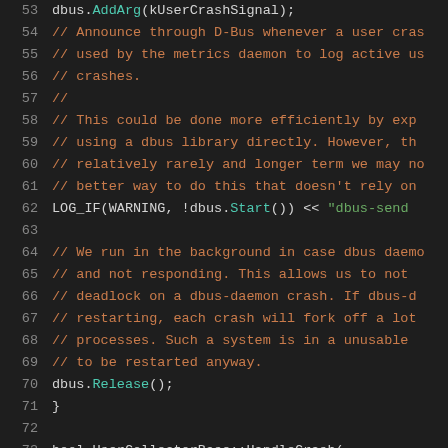[Figure (screenshot): Source code listing in a dark-themed code editor, showing C++ code lines 53-74 with syntax highlighting. Line numbers in gray on the left, comments in orange/brown, string literals in green, and regular code in light gray/teal.]